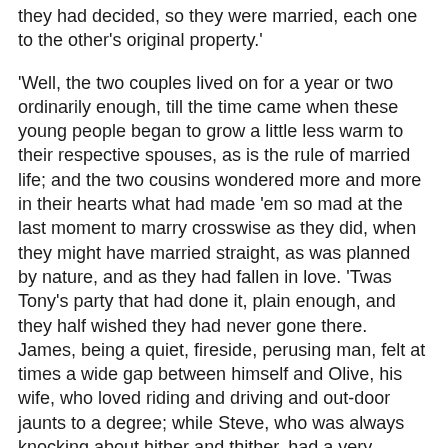they had decided, so they were married, each one to the other's original property.'
'Well, the two couples lived on for a year or two ordinarily enough, till the time came when these young people began to grow a little less warm to their respective spouses, as is the rule of married life; and the two cousins wondered more and more in their hearts what had made 'em so mad at the last moment to marry crosswise as they did, when they might have married straight, as was planned by nature, and as they had fallen in love. 'Twas Tony's party that had done it, plain enough, and they half wished they had never gone there. James, being a quiet, fireside, perusing man, felt at times a wide gap between himself and Olive, his wife, who loved riding and driving and out-door jaunts to a degree; while Steve, who was always knocking about hither and thither, had a very domestic wife, who worked samplers, and made hearth-rugs, scarcely ever wished to cross the threshold, and only drove out with him to please him.'